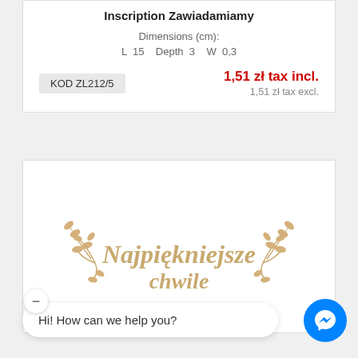Inscription Zawiadamiamy
Dimensions (cm):
L 15  Depth 3  W 0,3
KOD ZL212/5   1,51 zł tax incl.
1,51 zł tax excl.
[Figure (photo): Wooden laser-cut inscription decoration with cursive text 'Najpiękniejsze chwile' and leaf/branch ornaments on both sides]
Hi! How can we help you?